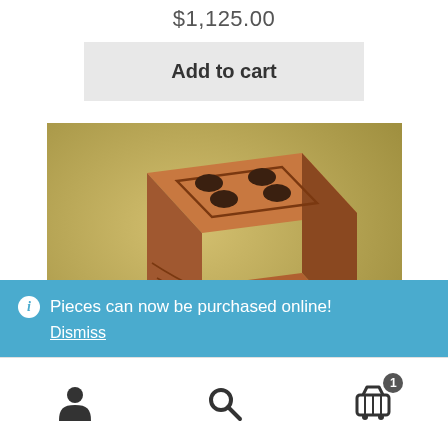$1,125.00
Add to cart
[Figure (photo): A ceramic cube/dice object with circular holes on top face, terracotta/reddish-brown colored, photographed against a yellowish-beige background.]
Pieces can now be purchased online!
Dismiss